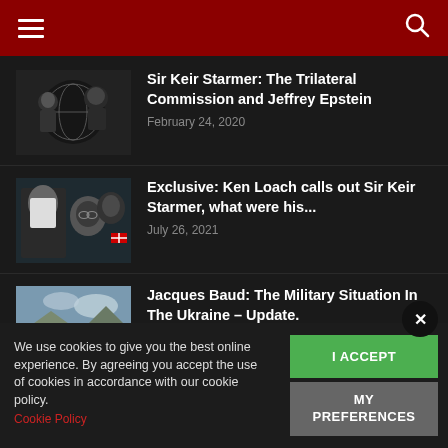Navigation header with hamburger menu and search icon
Sir Keir Starmer: The Trilateral Commission and Jeffrey Epstein
February 24, 2020
Exclusive: Ken Loach calls out Sir Keir Starmer, what were his...
July 26, 2021
Jacques Baud: The Military Situation In The Ukraine – Update.
April 15, 2022
We use cookies to give you the best online experience. By agreeing you accept the use of cookies in accordance with our cookie policy.
Cookie Policy
POPULAR CATEGORY
Latest News  1162